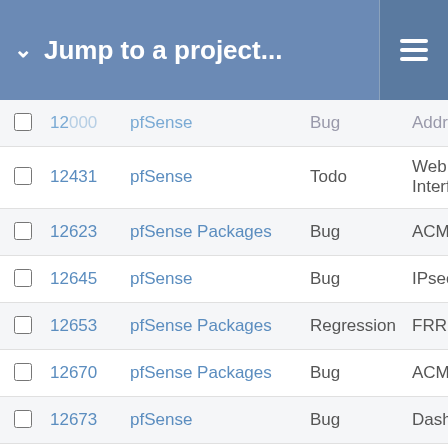Jump to a project...
|  | # | Project | Type | Category |  |
| --- | --- | --- | --- | --- | --- |
|  | 12000 | pfSense | Bug | Addresses | Pull R |
|  | 12431 | pfSense | Todo | Web Interface | Pull R |
|  | 12623 | pfSense Packages | Bug | ACME |  |
|  | 12645 | pfSense | Bug | IPsec |  |
|  | 12653 | pfSense Packages | Regression | FRR |  |
|  | 12670 | pfSense Packages | Bug | ACME |  |
|  | 12673 | pfSense | Bug | Dashboard | Pull R |